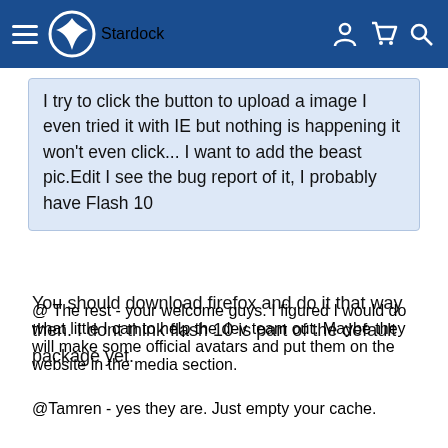Stardock
I try to click the button to upload a image I even tried it with IE but nothing is happening it won't even click... I want to add the beast pic.Edit I see the bug report of it, I probably have Flash 10
You should download firefox and do it that way then. I dont think flash 10 is part of the default package yet.
@ The rest - your welcome guys. I figured I would do what little I can to help the dev team out. Maybe they will make some official avatars and put them on the website in the media section.
@Tamren - yes they are. Just empty your cache.